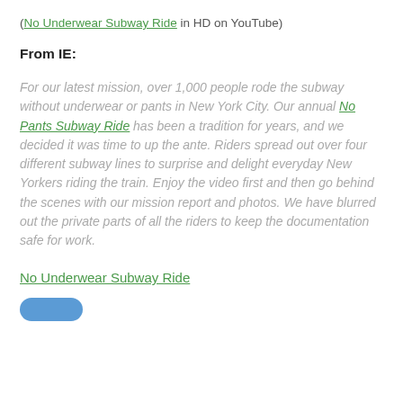(No Underwear Subway Ride in HD on YouTube)
From IE:
For our latest mission, over 1,000 people rode the subway without underwear or pants in New York City. Our annual No Pants Subway Ride has been a tradition for years, and we decided it was time to up the ante. Riders spread out over four different subway lines to surprise and delight everyday New Yorkers riding the train. Enjoy the video first and then go behind the scenes with our mission report and photos. We have blurred out the private parts of all the riders to keep the documentation safe for work.
No Underwear Subway Ride